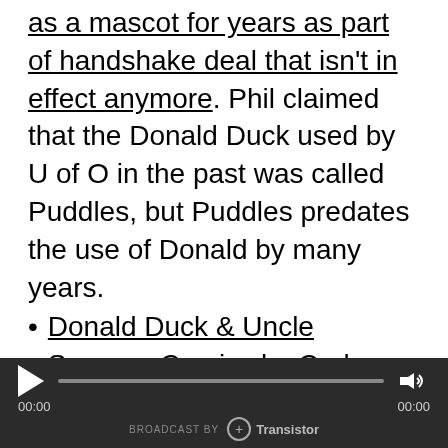as a mascot for years as part of handshake deal that isn't in effect anymore. Phil claimed that the Donald Duck used by U of O in the past was called Puddles, but Puddles predates the use of Donald by many years.
Donald Duck & Uncle Scrooge Comics by Carl Barks were how Phil learned how to read when his uncle gave him some collected books. They've been imitated a lot, there's stuff from Raiders of the Lost Ark that's lifted right out of them. They're better known in Europe than in America, sort of like an American Tintin. We can't really
[Figure (other): Audio player bar with play button, progress bar, volume icon, timestamps 00:00 on both sides, and 'BROADCAST BY Transistor' branding on dark background]